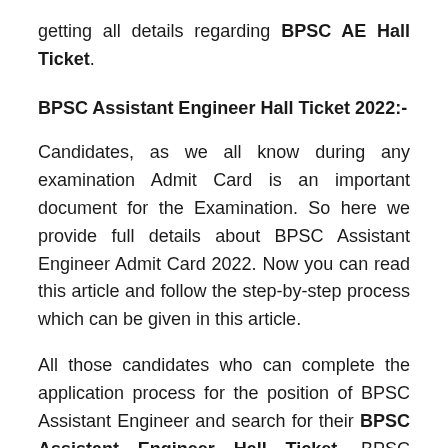getting all details regarding BPSC AE Hall Ticket.
BPSC Assistant Engineer Hall Ticket 2022:-
Candidates, as we all know during any examination Admit Card is an important document for the Examination. So here we provide full details about BPSC Assistant Engineer Admit Card 2022. Now you can read this article and follow the step-by-step process which can be given in this article.
All those candidates who can complete the application process for the position of BPSC Assistant Engineer and search for their BPSC Assistant Engineer Hall Ticket. BPSC Assistant Engineer Admit card is also b available on the